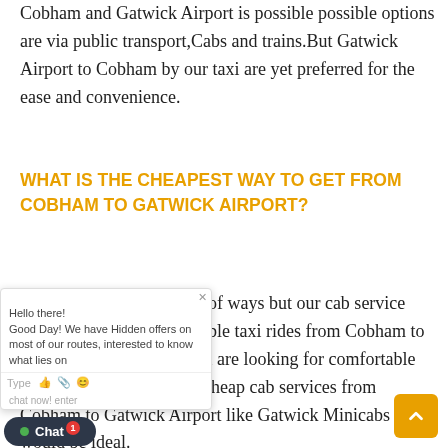Cobham and Gatwick Airport is possible possible options are via public transport,Cabs and trains.But Gatwick Airport to Cobham by our taxi are yet preferred for the ease and convenience.
WHAT IS THE CHEAPEST WAY TO GET FROM COBHAM TO GATWICK AIRPORT?
There are a lot of number of ways but our cab service provide cheap and affordable taxi rides from Cobham to Gatwick Airport. So if you are looking for comfortable yet customized rides and cheap cab services from Cobham to Gatwick Airport like Gatwick Minicabs would be ideal.